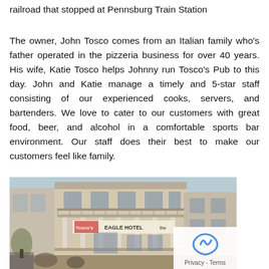railroad that stopped at Pennsburg Train Station
The owner, John Tosco comes from an Italian family who's father operated in the pizzeria business for over 40 years. His wife, Katie Tosco helps Johnny run Tosco's Pub to this day. John and Katie manage a timely and 5-star staff consisting of our experienced cooks, servers, and bartenders. We love to cater to our customers with great food, beer, and alcohol in a comfortable sports bar environment. Our staff does their best to make our customers feel like family.
[Figure (photo): Old black-and-white or sepia-toned photograph of a two-story building with a sign reading 'EAGLE HOTEL' and a porch with columns. People and vehicles visible in front.]